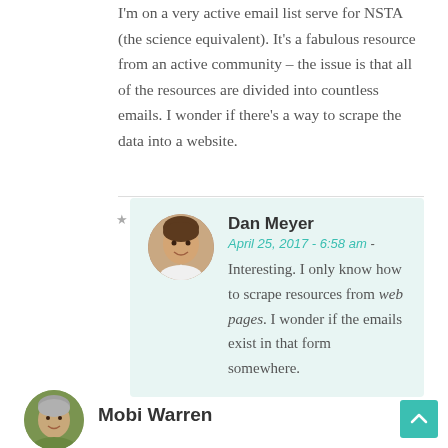I'm on a very active email list serve for NSTA (the science equivalent). It's a fabulous resource from an active community – the issue is that all of the resources are divided into countless emails. I wonder if there's a way to scrape the data into a website.
[Figure (photo): Round avatar photo of Dan Meyer, a man smiling in a white shirt]
Dan Meyer
April 25, 2017 - 6:58 am - Interesting. I only know how to scrape resources from web pages. I wonder if the emails exist in that form somewhere.
[Figure (photo): Round avatar photo of Mobi Warren, an older person outdoors]
Mobi Warren